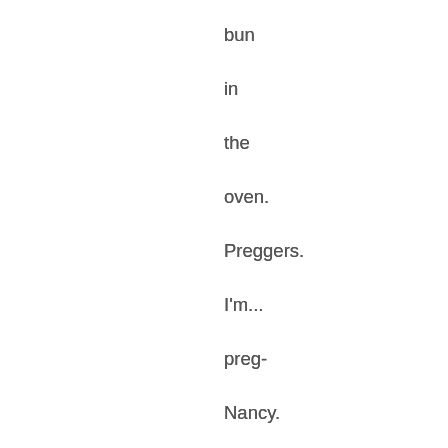bun in the oven. Preggers. I'm... preg- Nancy. The baby is due at the end of July, and my